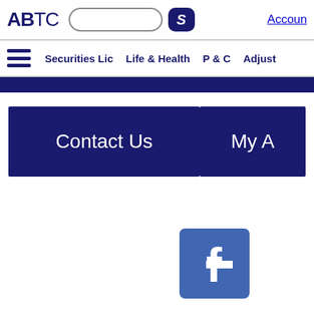ABTC [search box] [S button] Account
☰ Securities Lic  Life & Health  P & C  Adjust
[Figure (screenshot): Navigation buttons: Contact Us and My Account on dark navy background]
[Figure (logo): Facebook social media icon - blue square with white f logo]